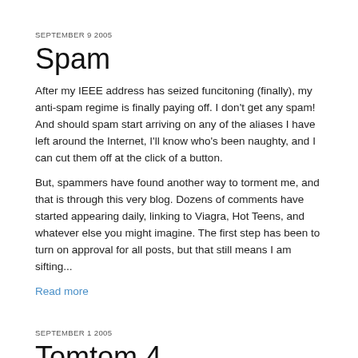SEPTEMBER 9 2005
Spam
After my IEEE address has seized funcitoning (finally), my anti-spam regime is finally paying off. I don't get any spam! And should spam start arriving on any of the aliases I have left around the Internet, I'll know who's been naughty, and I can cut them off at the click of a button.
But, spammers have found another way to torment me, and that is through this very blog. Dozens of comments have started appearing daily, linking to Viagra, Hot Teens, and whatever else you might imagine. The first step has been to turn on approval for all posts, but that still means I am sifting...
Read more
SEPTEMBER 1 2005
Tomtom 4